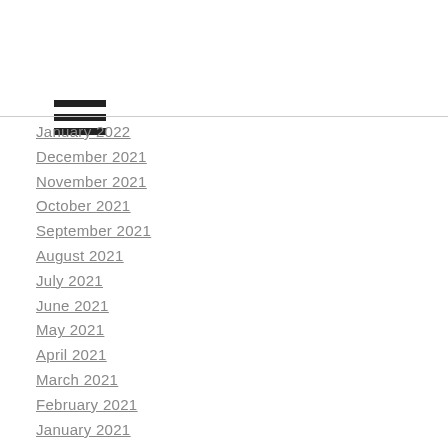[Figure (other): Hamburger menu icon with three horizontal black bars]
January 2022
December 2021
November 2021
October 2021
September 2021
August 2021
July 2021
June 2021
May 2021
April 2021
March 2021
February 2021
January 2021
December 2020
November 2020
October 2020
September 2020
August 2020
July 2020